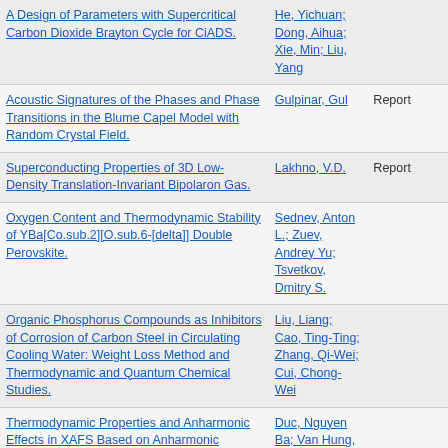| Title | Authors | Type |
| --- | --- | --- |
| A Design of Parameters with Supercritical Carbon Dioxide Brayton Cycle for CiADS. | He, Yichuan; Dong, Aihua; Xie, Min; Liu, Yang |  |
| Acoustic Signatures of the Phases and Phase Transitions in the Blume Capel Model with Random Crystal Field. | Gulpinar, Gul | Report |
| Superconducting Properties of 3D Low-Density Translation-Invariant Bipolaron Gas. | Lakhno, V.D. | Report |
| Oxygen Content and Thermodynamic Stability of YBa[Co.sub.2][O.sub.6-[delta]] Double Perovskite. | Sednev, Anton L.; Zuev, Andrey Yu; Tsvetkov, Dmitry S. |  |
| Organic Phosphorus Compounds as Inhibitors of Corrosion of Carbon Steel in Circulating Cooling Water: Weight Loss Method and Thermodynamic and Quantum Chemical Studies. | Liu, Liang; Cao, Ting-Ting; Zhang, Qi-Wei; Cui, Chong-Wei |  |
| Thermodynamic Properties and Anharmonic Effects in XAFS Based on Anharmonic Correlated Debye Model Debye-Waller Factors. | Duc, Nguyen Ba; Van Hung, Nguyen; Khoa, Ha Dang; Vuong, Dinh Quoc; Tien, Tong Sy |  |